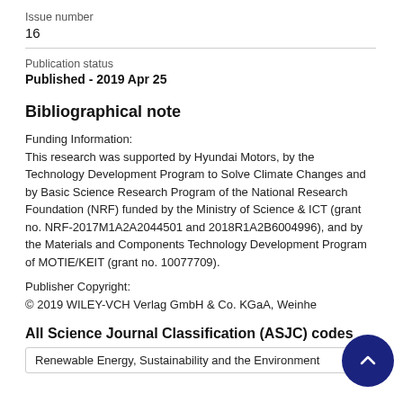Issue number
16
Publication status
Published - 2019 Apr 25
Bibliographical note
Funding Information:
This research was supported by Hyundai Motors, by the Technology Development Program to Solve Climate Changes and by Basic Science Research Program of the National Research Foundation (NRF) funded by the Ministry of Science & ICT (grant no. NRF-2017M1A2A2044501 and 2018R1A2B6004996), and by the Materials and Components Technology Development Program of MOTIE/KEIT (grant no. 10077709).
Publisher Copyright:
© 2019 WILEY-VCH Verlag GmbH & Co. KGaA, Weinhe
All Science Journal Classification (ASJC) codes
Renewable Energy, Sustainability and the Environment